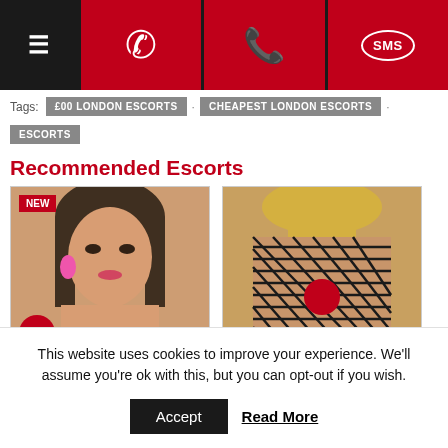Navigation bar with menu, phone, telephone, and SMS icons
Tags: £00 LONDON ESCORTS · CHEAPEST LONDON ESCORTS · ESCORTS
Recommended Escorts
[Figure (photo): Escort card showing young woman labeled NEW, £80, TEEN, PARTY GIRL]
[Figure (photo): Escort card showing woman in fishnet bodysuit labeled CHEAPEST LONDON ESCORTS, BUSTY, PARTY GIRL]
This website uses cookies to improve your experience. We'll assume you're ok with this, but you can opt-out if you wish. Accept Read More